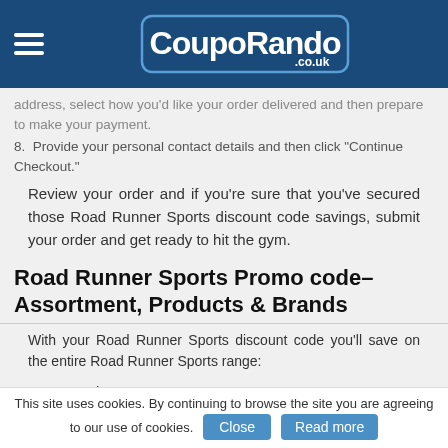CoupoRando.co.uk
address, select how you'd like your order delivered and then prepare to make your payment.
8.  Provide your personal contact details and then click "Continue Checkout."
Review your order and if you're sure that you've secured those Road Runner Sports discount code savings, submit your order and get ready to hit the gym.
Road Runner Sports Promo code– Assortment, Products & Brands
With your Road Runner Sports discount code you'll save on the entire Road Runner Sports range:
Men's Shoes
Women's Shoes
Men's Apparel
This site uses cookies. By continuing to browse the site you are agreeing to our use of cookies.